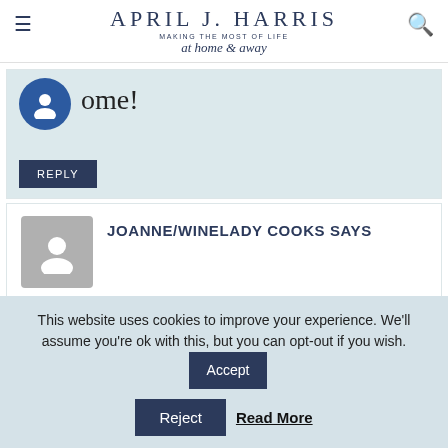APRIL J. HARRIS — MAKING THE MOST OF LIFE — at home & away
ome!
REPLY
JOANNE/WINELADY COOKS SAYS
Thanks for hosting a terrific party April. Happy New Year!
This website uses cookies to improve your experience. We'll assume you're ok with this, but you can opt-out if you wish. Accept Reject Read More